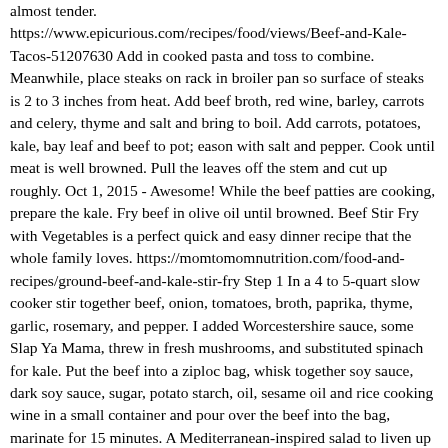almost tender. https://www.epicurious.com/recipes/food/views/Beef-and-Kale-Tacos-51207630 Add in cooked pasta and toss to combine. Meanwhile, place steaks on rack in broiler pan so surface of steaks is 2 to 3 inches from heat. Add beef broth, red wine, barley, carrots and celery, thyme and salt and bring to boil. Add carrots, potatoes, kale, bay leaf and beef to pot; eason with salt and pepper. Cook until meat is well browned. Pull the leaves off the stem and cut up roughly. Oct 1, 2015 - Awesome! While the beef patties are cooking, prepare the kale. Fry beef in olive oil until browned. Beef Stir Fry with Vegetables is a perfect quick and easy dinner recipe that the whole family loves. https://momtomomnutrition.com/food-and-recipes/ground-beef-and-kale-stir-fry Step 1 In a 4 to 5-quart slow cooker stir together beef, onion, tomatoes, broth, paprika, thyme, garlic, rosemary, and pepper. I added Worcestershire sauce, some Slap Ya Mama, threw in fresh mushrooms, and substituted spinach for kale. Put the beef into a ziploc bag, whisk together soy sauce, dark soy sauce, sugar, potato starch, oil, sesame oil and rice cooking wine in a small container and pour over the beef into the bag, marinate for 15 minutes. A Mediterranean-inspired salad to liven up dinnertime. Serve over rice. Ground beef is seasoned with gyro-style spices and pan-seared with roasted red peppers. A drizzle of tzatziki-style sauce adds creamy notes over top. Sprinkle steaks with salt and pepper. Bring to a boil; reduce heat to low. Add kale and reserved marinade; cook 3 minutes or just until kale is wilted. It's all piled over a kale and cabbage salad, tossed with